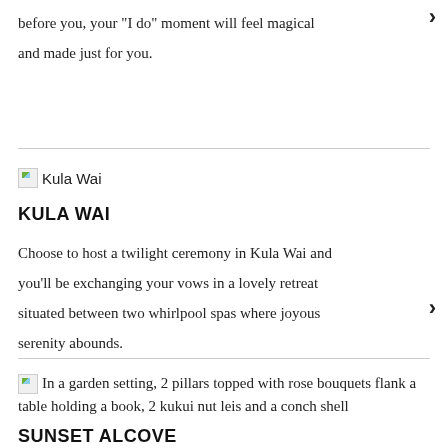before you, your "I do" moment will feel magical and made just for you.
[Figure (photo): Kula Wai image thumbnail (broken image placeholder)]
KULA WAI
Choose to host a twilight ceremony in Kula Wai and you'll be exchanging your vows in a lovely retreat situated between two whirlpool spas where joyous serenity abounds.
[Figure (photo): In a garden setting, 2 pillars topped with rose bouquets flank a table holding a book, 2 kukui nut leis and a conch shell]
SUNSET ALCOVE